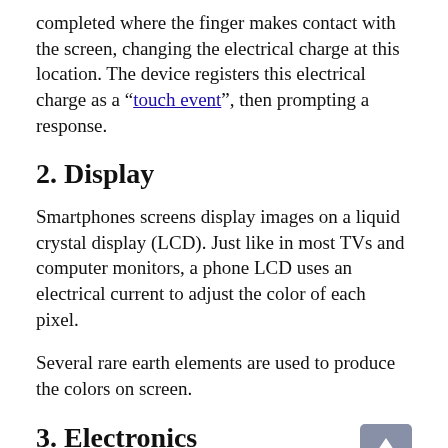completed where the finger makes contact with the screen, changing the electrical charge at this location. The device registers this electrical charge as a “touch event”, then prompting a response.
2. Display
Smartphones screens display images on a liquid crystal display (LCD). Just like in most TVs and computer monitors, a phone LCD uses an electrical current to adjust the color of each pixel.
Several rare earth elements are used to produce the colors on screen.
3. Electronics
Smartphones employ multiple antenna systems, such as Bluetooth, GPS, and WiFi.